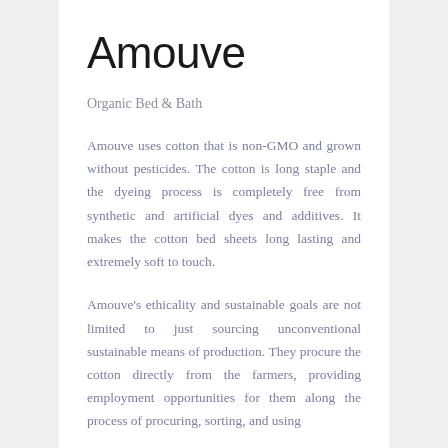Amouve
Organic Bed & Bath
Amouve uses cotton that is non-GMO and grown without pesticides. The cotton is long staple and the dyeing process is completely free from synthetic and artificial dyes and additives. It makes the cotton bed sheets long lasting and extremely soft to touch.
Amouve's ethicality and sustainable goals are not limited to just sourcing unconventional sustainable means of production. They procure the cotton directly from the farmers, providing employment opportunities for them along the process of procuring, sorting, and using